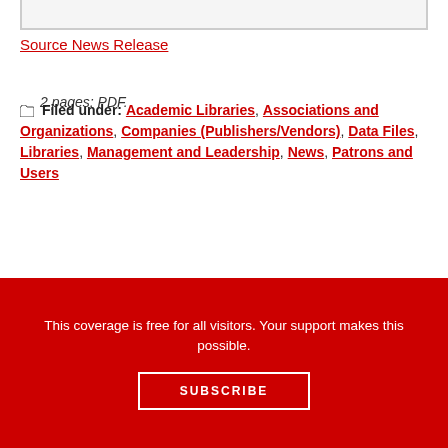Source News Release
2 pages; PDF.
Filed under: Academic Libraries, Associations and Organizations, Companies (Publishers/Vendors), Data Files, Libraries, Management and Leadership, News, Patrons and Users
SHARE:
This coverage is free for all visitors. Your support makes this possible.
SUBSCRIBE